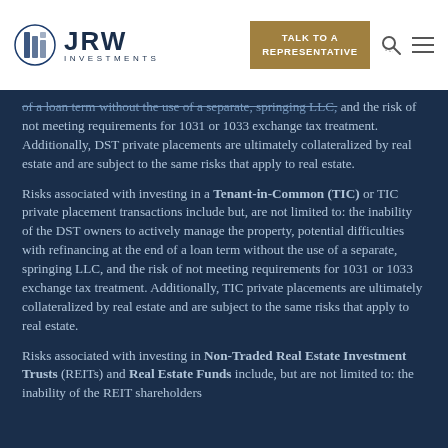JRW INVESTMENTS | TALK TO A REPRESENTATIVE
of a loan term without the use of a separate, springing LLC, and the risk of not meeting requirements for 1031 or 1033 exchange tax treatment. Additionally, DST private placements are ultimately collateralized by real estate and are subject to the same risks that apply to real estate.
Risks associated with investing in a Tenant-in-Common (TIC) or TIC private placement transactions include but, are not limited to: the inability of the DST owners to actively manage the property, potential difficulties with refinancing at the end of a loan term without the use of a separate, springing LLC, and the risk of not meeting requirements for 1031 or 1033 exchange tax treatment. Additionally, TIC private placements are ultimately collateralized by real estate and are subject to the same risks that apply to real estate.
Risks associated with investing in Non-Traded Real Estate Investment Trusts (REITs) and Real Estate Funds include, but are not limited to: the inability of the REIT shareholders